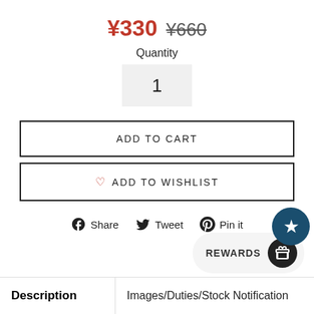¥330 ¥660
Quantity
1
ADD TO CART
♡ ADD TO WISHLIST
[Figure (infographic): Rewards star badge icon (teal circle with white star)]
Share  Tweet  Pin it
[Figure (infographic): Rewards widget with gift icon in black circle]
Description
Images/Duties/Stock Notification